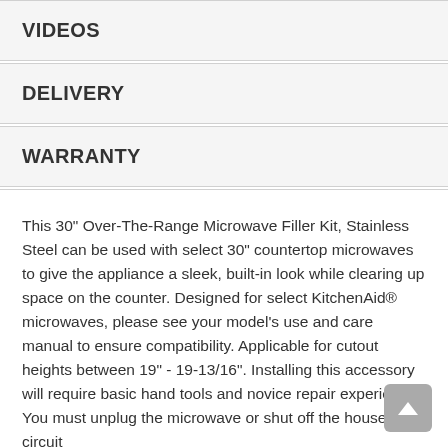VIDEOS
DELIVERY
WARRANTY
This 30" Over-The-Range Microwave Filler Kit, Stainless Steel can be used with select 30" countertop microwaves to give the appliance a sleek, built-in look while clearing up space on the counter. Designed for select KitchenAid® microwaves, please see your model's use and care manual to ensure compatibility. Applicable for cutout heights between 19" - 19-13/16". Installing this accessory will require basic hand tools and novice repair experience. You must unplug the microwave or shut off the house circuit